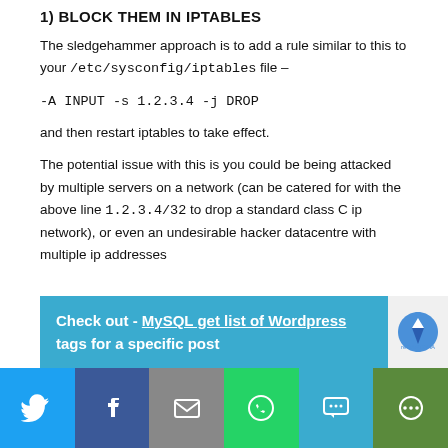1) BLOCK THEM IN IPTABLES
The sledgehammer approach is to add a rule similar to this to your /etc/sysconfig/iptables file –
and then restart iptables to take effect.
The potential issue with this is you could be being attacked by multiple servers on a network (can be catered for with the above line 1.2.3.4/32 to drop a standard class C ip network), or even an undesirable hacker datacentre with multiple ip addresses
Check out - MySQL get list of Wordpress tags for a specific post